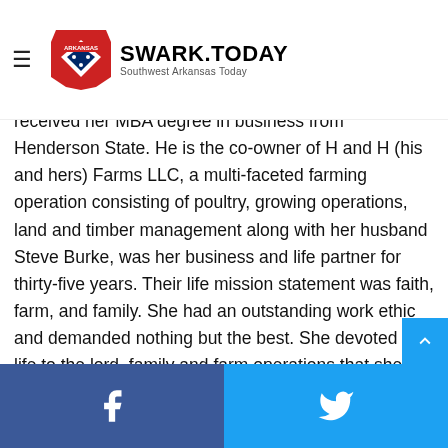SWARK.TODAY — Southwest Arkansas Today
received her MBA degree in business from Henderson State. He is the co-owner of H and H (his and hers) Farms LLC, a multi-faceted farming operation consisting of poultry, growing operations, land and timber management along with her husband Steve Burke, was her business and life partner for thirty-five years. Their life mission statement was faith, farm, and family. She had an outstanding work ethic and demanded nothing but the best. She devoted her life to the lord, family and farm operations that she and Steve were passing down to their three sons, however she will best be remembered as an amazing wife, momma, mother-in-law and grammy to her family.
Genevieve was employed at the Prescott Elementary school from August 2010to June 2014 where all three of her children attended, she especially enjoyed babysitting her grandchild
Facebook share | Twitter share